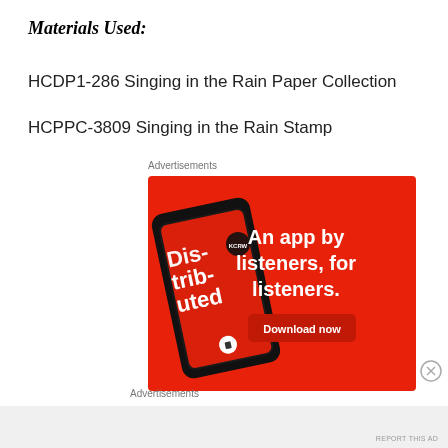Materials Used:
HCDP1-286 Singing in the Rain Paper Collection
HCPPC-3809 Singing in the Rain Stamp
Advertisements
[Figure (photo): Advertisement banner showing a smartphone with a podcast app labeled 'Distributed' on a red background, with text 'An app by listeners, for listeners.' and a 'Download now' button.]
Advertisements